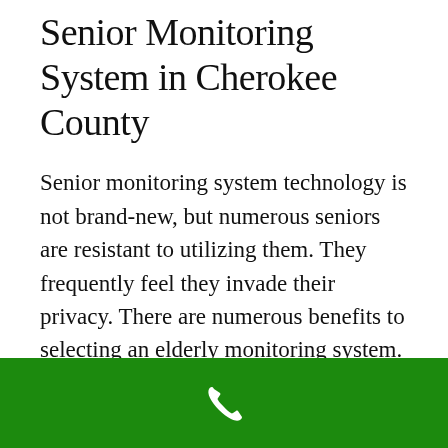Senior Monitoring System in Cherokee County
Senior monitoring system technology is not brand-new, but numerous seniors are resistant to utilizing them. They frequently feel they invade their privacy. There are numerous benefits to selecting an elderly monitoring system.
The most significant advantage of all is that it can permit senior citizens to stay in